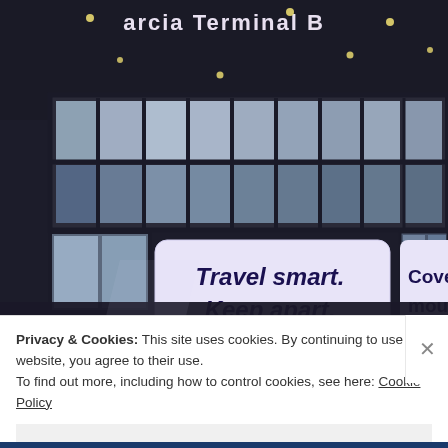[Figure (photo): Airport terminal interior photo showing large windows with grid pattern letting in daylight, a dark ceiling with recessed lights, and two white signs visible in the lower portion. The left sign reads 'Travel smart. Keep apart.' in bold dark text on white/light purple background. The right sign partially visible reads 'Cover your mouth & n...' The airport signage at top reads 'arcia Terminal B'.]
Privacy & Cookies: This site uses cookies. By continuing to use this website, you agree to their use.
To find out more, including how to control cookies, see here: Cookie Policy
Close and accept